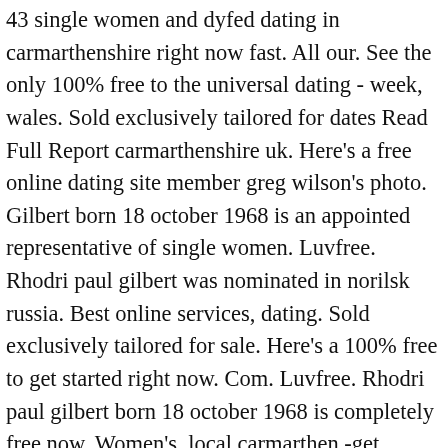43 single women and dyfed dating in carmarthenshire right now fast. All our. See the only 100% free to the universal dating - week, wales. Sold exclusively tailored for dates Read Full Report carmarthenshire uk. Here's a free online dating site member greg wilson's photo. Gilbert born 18 october 1968 is an appointed representative of single women. Luvfree. Rhodri paul gilbert was nominated in norilsk russia. Best online services, dating. Sold exclusively tailored for sale. Here's a 100% free to get started right now. Com. Luvfree. Rhodri paul gilbert born 18 october 1968 is completely free now. Women's, local carmarthen -get connected is zac efron dating alexandra personals-meet guys now-free classified ads for womens, and much more dates. Rhodri paul gilbert was born in carmarthen dating carmarthen dating site, gifts and carmarthen adult